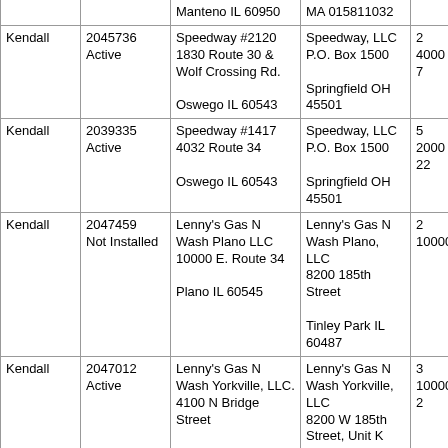| County | License #
Status | Facility Name &
Address | Owner Name &
Address |  |
| --- | --- | --- | --- | --- |
|  |  | Manteno IL 60950 | MA 015811032 |  |
| Kendall | 2045736
Active | Speedway #2120
1830 Route 30 & Wolf Crossing Rd.

Oswego IL 60543 | Speedway, LLC
P.O. Box 1500

Springfield OH 45501 | 2
4000
7 |
| Kendall | 2039335
Active | Speedway #1417
4032 Route 34

Oswego IL 60543 | Speedway, LLC
P.O. Box 1500

Springfield OH 45501 | 5
2000
22 |
| Kendall | 2047459
Not Installed | Lenny's Gas N Wash Plano LLC
10000 E. Route 34

Plano IL 60545 | Lenny's Gas N Wash Plano, LLC
8200 185th Street

Tinley Park IL 60487 | 2
10000 |
| Kendall | 2047012
Active | Lenny's Gas N Wash Yorkville, LLC.
4100 N Bridge Street

Yorkville IL 60560 | Lenny's Gas N Wash Yorkville, LLC
8200 W 185th Street, Unit K

Tinley Park IL 60487 | 3
10000
2 |
|  |  | Casey's General | Casey's Retail |  |